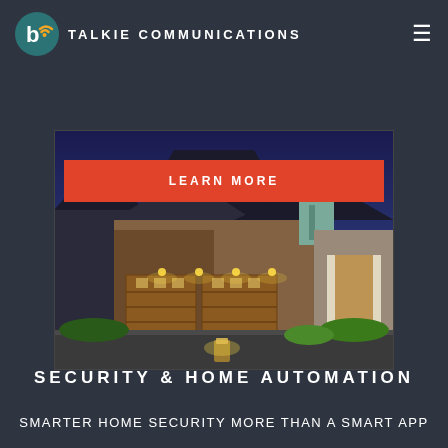TALKIE COMMUNICATIONS
LEARN MORE
[Figure (photo): Illuminated luxury home at night with stone facade, wood garage doors, arched entryway, and landscape lighting]
SECURITY & HOME AUTOMATION
SMARTER HOME SECURITY More than a smart app